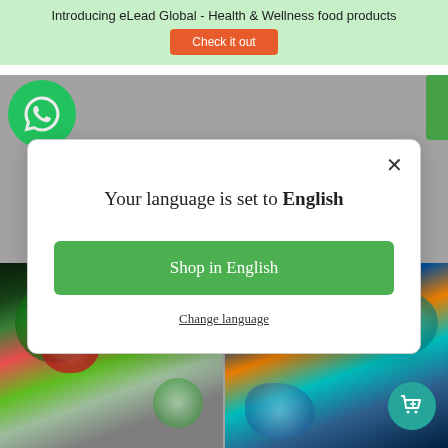Introducing eLead Global - Health & Wellness food products
Check it out
[Figure (screenshot): Background screenshot of a shopping website with WhatsApp icon, colorful toy product photos, and a green language selection modal overlay]
Your language is set to English
Shop in English
Change language